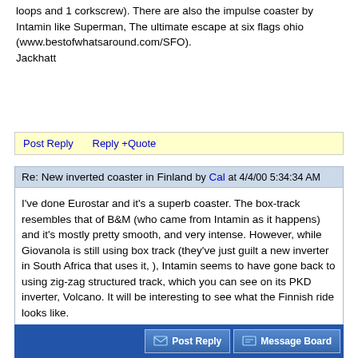loops and 1 corkscrew). There are also the impulse coaster by Intamin like Superman, The ultimate escape at six flags ohio (www.bestofwhatsaround.com/SFO).
Jackhatt
Post Reply    Reply +Quote
Re: New inverted coaster in Finland by Cal at 4/4/00 5:34:34 AM
I've done Eurostar and it's a superb coaster. The box-track resembles that of B&M (who came from Intamin as it happens) and it's mostly pretty smooth, and very intense. However, while Giovanola is still using box track (they've just guilt a new inverter in South Africa that uses it, ), Intamin seems to have gone back to using zig-zag structured track, which you can see on its PKD inverter, Volcano. It will be interesting to see what the Finnish ride looks like.

Cal
Post Reply    Reply +Quote
Post Reply   Message Board